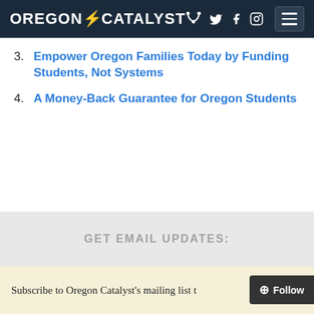OREGON CATALYST
Empower Oregon Families Today by Funding Students, Not Systems
A Money-Back Guarantee for Oregon Students
GET EMAIL UPDATES:
Subscribe to Oregon Catalyst's mailing list